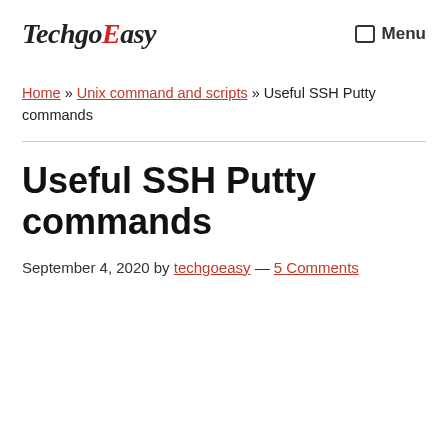TechgoEasy  Menu
Home » Unix command and scripts » Useful SSH Putty commands
Useful SSH Putty commands
September 4, 2020 by techgoeasy — 5 Comments